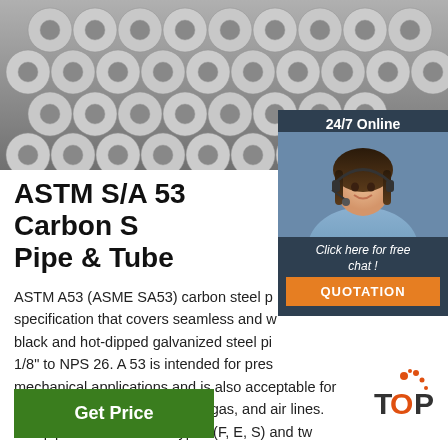[Figure (photo): Stack of metallic steel pipes/rods bundled together, viewed from the end, showing circular cross-sections]
ASTM S/A 53 Carbon Steel Pipe & Tube
ASTM A53 (ASME SA53) carbon steel pipe specification that covers seamless and welded, black and hot-dipped galvanized steel pipe, NPS 1/8" to NPS 26. A 53 is intended for pressure and mechanical applications and is also acceptable for ordinary uses in steam, water, gas, and air lines. A53 pipe comes in three types (F, E, S) and two
[Figure (photo): 24/7 Online chat widget with a female customer service representative wearing a headset, with a QUOTATION button]
Get Price